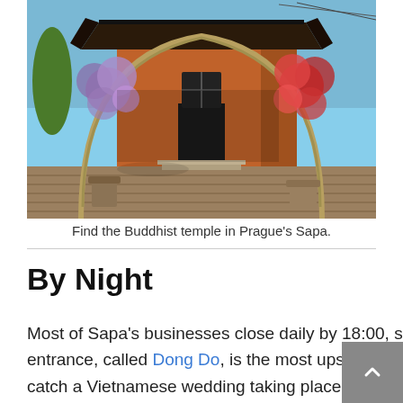[Figure (photo): Photo of a Buddhist temple entrance in Prague's Sapa district, featuring a decorative arch made of branches with purple and red flowering plants, a red/orange building with a traditional Asian curved roofline, and a paved walkway leading to the entrance door.]
Find the Buddhist temple in Prague's Sapa.
By Night
Most of Sapa's businesses close daily by 18:00, some by 20:00. The main restaurant at the Sapa entrance, called Dong Do, is the most upscale in town and stays open later. If you're lucky you might catch a Vietnamese wedding taking place in its